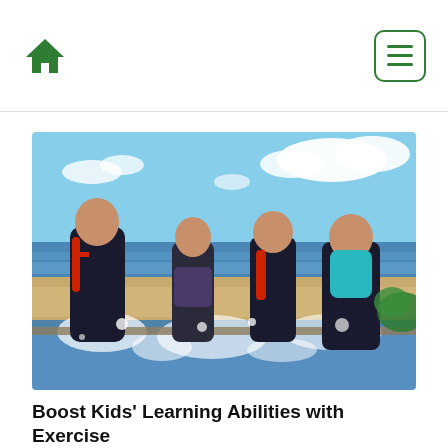[Figure (photo): Four children in swimwear splashing and playing in water at a beach. An older girl/woman on the left and three younger children laughing and jumping, with ocean waves and beach in the background.]
Boost Kids’ Learning Abilities with Exercise
Oct 29, 2021 09:30AM • By Rachael Oppy